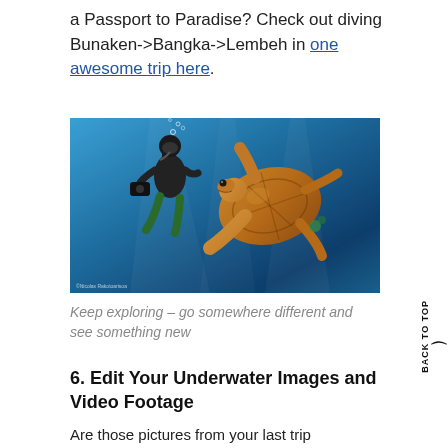a Passport to Paradise? Check out diving Bunaken->Bangka->Lembeh in one awesome trip here.
[Figure (photo): Underwater photo of a scuba diver swimming alongside a large sea turtle in blue ocean water. Small photo credit text in bottom left corner.]
Keep exploring – go somewhere different and see something new
6. Edit Your Underwater Images and Video Footage
Are those pictures from your last trip